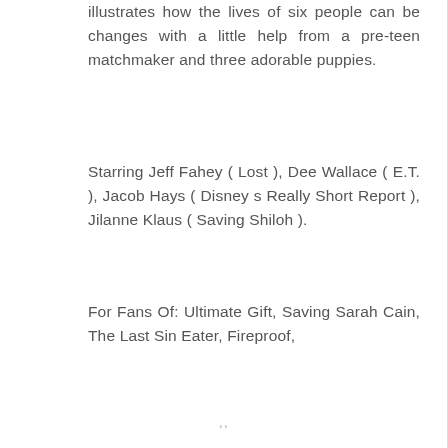illustrates how the lives of six people can be changes with a little help from a pre-teen matchmaker and three adorable puppies.
Starring Jeff Fahey ( Lost ), Dee Wallace ( E.T. ), Jacob Hays ( Disney s Really Short Report ), Jilanne Klaus ( Saving Shiloh ).
For Fans Of: Ultimate Gift, Saving Sarah Cain, The Last Sin Eater, Fireproof,